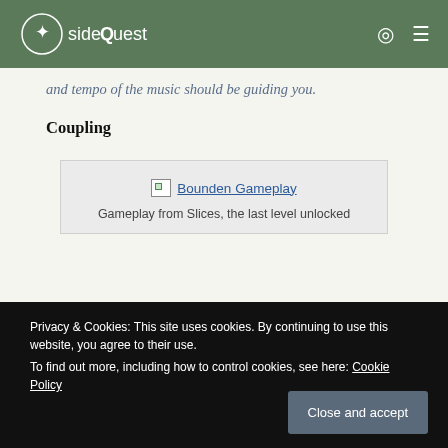SideQuest
and tempo of the music should be guiding you.
Coupling
[Figure (photo): Broken image placeholder labeled 'Bounden Gameplay' with caption: Gameplay from Slices, the last level unlocked]
Gameplay from Slices, the last level unlocked
With Valentine's day drawing near, at the time of writing this, it hit me how lovely Bounden is to play
Privacy & Cookies: This site uses cookies. By continuing to use this website, you agree to their use.
To find out more, including how to control cookies, see here: Cookie Policy
Close and accept